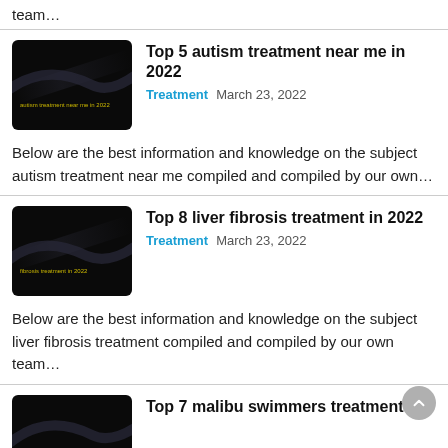team…
Top 5 autism treatment near me in 2022
Treatment   March 23, 2022
Below are the best information and knowledge on the subject autism treatment near me compiled and compiled by our own…
Top 8 liver fibrosis treatment in 2022
Treatment   March 23, 2022
Below are the best information and knowledge on the subject liver fibrosis treatment compiled and compiled by our own team…
Top 7 malibu swimmers treatment in